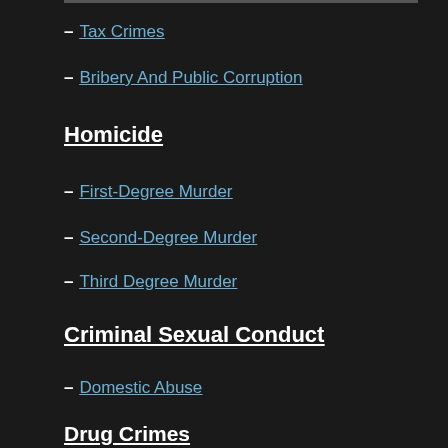Tax Crimes
Bribery And Public Corruption
Homicide
First-Degree Murder
Second-Degree Murder
Third Degree Murder
Criminal Sexual Conduct
Domestic Abuse
Drug Crimes
DWI
First-Degree Felony